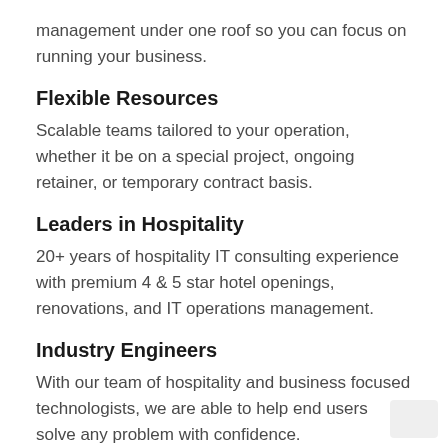management under one roof so you can focus on running your business.
Flexible Resources
Scalable teams tailored to your operation, whether it be on a special project, ongoing retainer, or temporary contract basis.
Leaders in Hospitality
20+ years of hospitality IT consulting experience with premium 4 & 5 star hotel openings, renovations, and IT operations management.
Industry Engineers
With our team of hospitality and business focused technologists, we are able to help end users solve any problem with confidence.